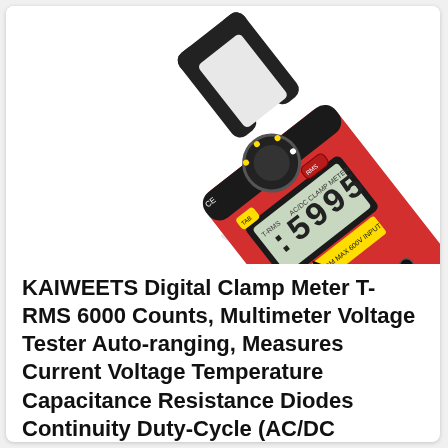[Figure (photo): Product photo of a red and black KAIWEETS Digital Clamp Meter T-RMS AC/DC, showing the LCD display reading 5999, rotary dial, clamp jaws, and input terminals. The meter is angled diagonally on a white background.]
KAIWEETS Digital Clamp Meter T-RMS 6000 Counts, Multimeter Voltage Tester Auto-ranging, Measures Current Voltage Temperature Capacitance Resistance Diodes Continuity Duty-Cycle (AC/DC Current)
in stock